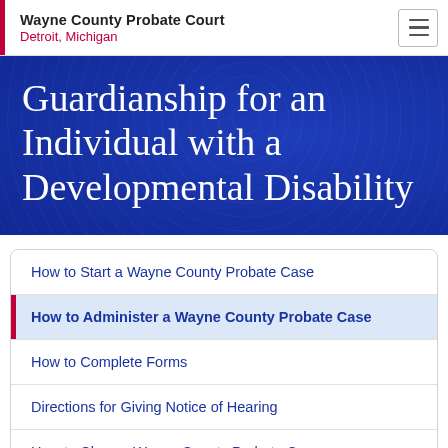Wayne County Probate Court – Detroit, Michigan
Guardianship for an Individual with a Developmental Disability
How to Start a Wayne County Probate Case
How to Administer a Wayne County Probate Case
How to Complete Forms
Directions for Giving Notice of Hearing
How to Close a Wayne County Probate Case